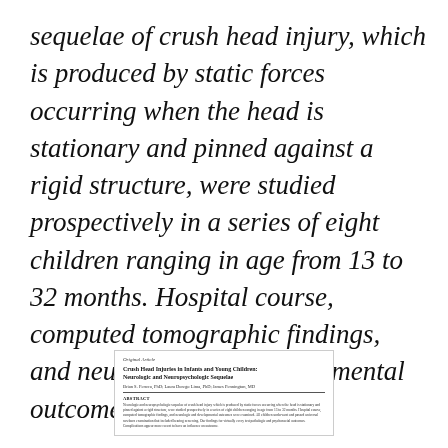sequelae of crush head injury, which is produced by static forces occurring when the head is stationary and pinned against a rigid structure, were studied prospectively in a series of eight children ranging in age from 13 to 32 months. Hospital course, computed tomographic findings, and neurologic and developmental outcomes were [...]
[Figure (other): Thumbnail image of the original article titled 'Crush Head Injuries in Infants and Young Children: Neurologic and Neuropsychologic Sequelae', showing article label, title, authors, and abstract text in miniature.]